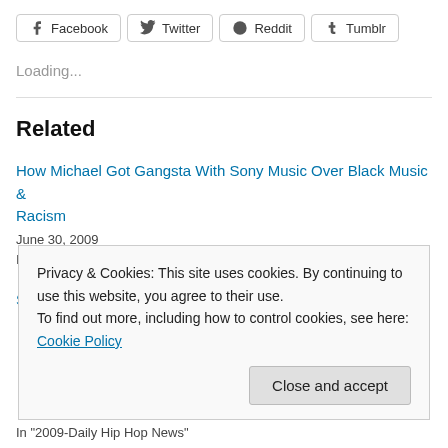[Figure (other): Social share buttons: Facebook, Twitter, Reddit, Tumblr]
Loading...
Related
How Michael Got Gangsta With Sony Music Over Black Music & Racism
June 30, 2009
In "2009-Daily Hip Hop News"
Scarface is calling it a day. Politics Has ruined the Music Biz
Privacy & Cookies: This site uses cookies. By continuing to use this website, you agree to their use.
To find out more, including how to control cookies, see here: Cookie Policy
In "2009-Daily Hip Hop News"